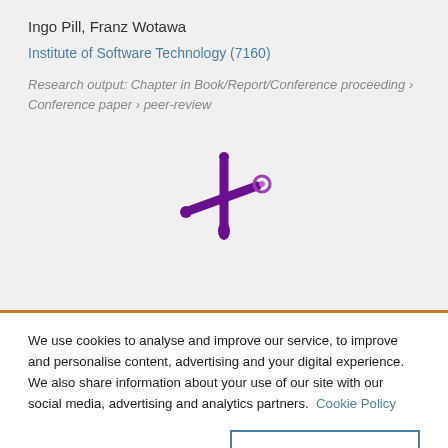Ingo Pill, Franz Wotawa
Institute of Software Technology (7160)
Research output: Chapter in Book/Report/Conference proceeding › Conference paper › peer-review
[Figure (logo): Altmetric donut/snowflake logo in purple]
We use cookies to analyse and improve our service, to improve and personalise content, advertising and your digital experience. We also share information about your use of our site with our social media, advertising and analytics partners.  Cookie Policy